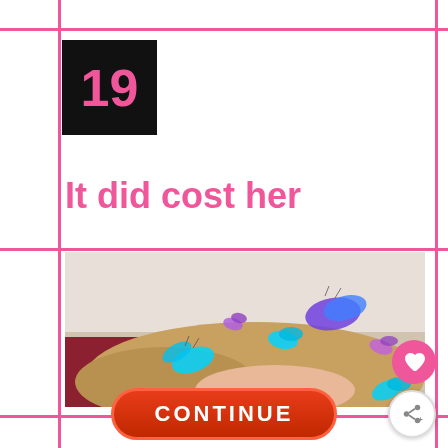19
It did cost her
[Figure (photo): Close-up photo of a blonde person lying down with colorful butterfly overlays (cyan, purple, blue) decorating their hair, social media app interface style]
CONTINUE